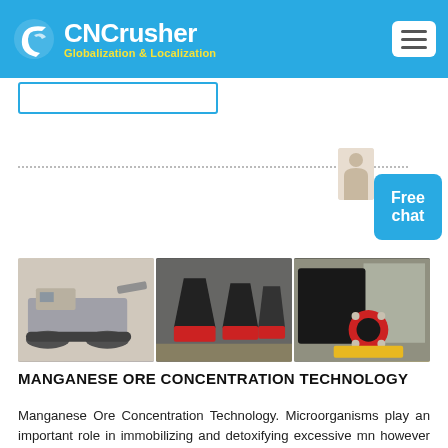CNCrusher — Globalization & Localization
[Figure (logo): CNCrusher logo with circular icon on blue header bar]
[Figure (photo): Three photos of mining/crushing machinery side by side: tracked mobile crusher, cone crushers in factory, and jaw crusher]
MANGANESE ORE CONCENTRATION TECHNOLOGY
Manganese Ore Concentration Technology. Microorganisms play an important role in immobilizing and detoxifying excessive mn however there is so far a lack of sufficient information concerning